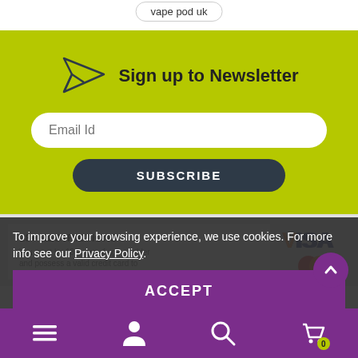vape pod uk
Sign up to Newsletter
Email Id
SUBSCRIBE
18+ RESTRICTIONS
To improve your browsing experience, we use cookies. For more info see our Privacy Policy.
ACCEPT
[Figure (logo): VISA logo in blue and orange]
[Figure (logo): Mastercard logo with overlapping red and orange circles]
Copyright © 2022 VAWOO. All Rights Reserved. Terms and Conditions